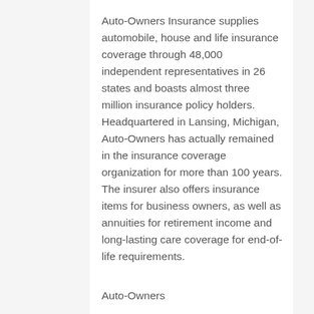Auto-Owners Insurance supplies automobile, house and life insurance coverage through 48,000 independent representatives in 26 states and boasts almost three million insurance policy holders. Headquartered in Lansing, Michigan, Auto-Owners has actually remained in the insurance coverage organization for more than 100 years. The insurer also offers insurance items for business owners, as well as annuities for retirement income and long-lasting care coverage for end-of-life requirements.
Auto-Owners